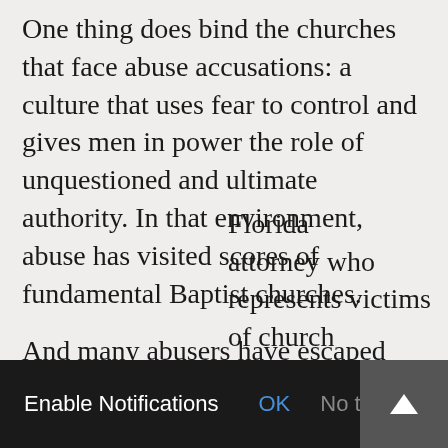One thing does bind the churches that face abuse accusations: a culture that uses fear to control and gives men in power the role of unquestioned and ultimate authority. In that environment, abuse has visited scores of fundamental Baptist churches.
And many abusers have escaped consequence-free, often with the help of the pastor in charge.
“A lot of times, it’s phone calls and meetings, because I mean, generally speaking, these type of pressures are not memorialized in [writing],” said a Florida attorney who represents victims of church
[Figure (screenshot): Browser notification popup bar at bottom of page with dark background. Contains text 'Enable Notifications', 'OK' in blue, and 'No thanks' in gray.]